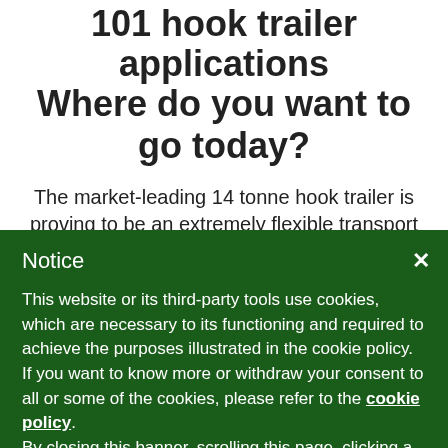101 hook trailer applications Where do you want to go today?
The market-leading 14 tonne hook trailer is proving to be an extremely flexible transport solution for small-to-medium size contractors across a wide range of materials and sectors. Imagine how you could utilise the modern 14 tonne hook trailer to transport heavy plant; or to cart soil,
Notice
This website or its third-party tools use cookies, which are necessary to its functioning and required to achieve the purposes illustrated in the cookie policy. If you want to know more or withdraw your consent to all or some of the cookies, please refer to the cookie policy.
By closing this banner, scrolling this page, clicking a link or continuing to browse otherwise, you agree to the use of cookies.